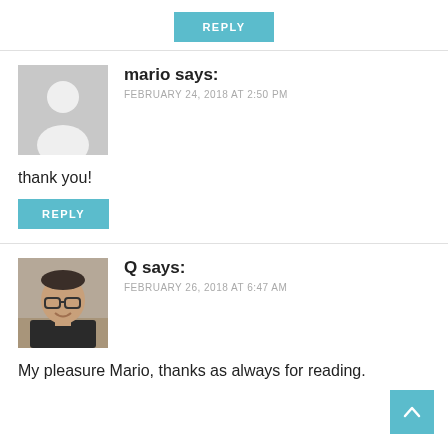REPLY (button, top)
mario says:
FEBRUARY 24, 2018 AT 2:50 PM
thank you!
REPLY (button, mario)
Q says:
FEBRUARY 26, 2018 AT 6:47 AM
My pleasure Mario, thanks as always for reading.